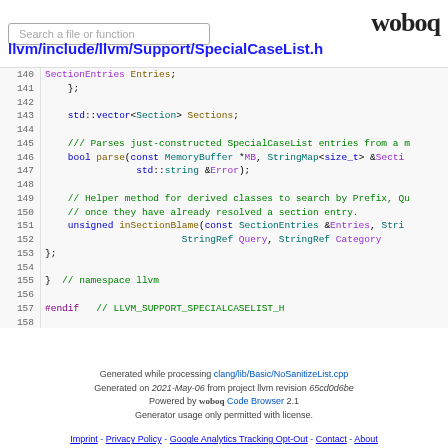Search a file or function | woboq
llvm/include/llvm/Support/SpecialCaseList.h
[Figure (screenshot): Source code viewer showing lines 140-159 of SpecialCaseList.h with syntax highlighting]
Generated while processing clang/lib/Basic/NoSanitizeList.cpp
Generated on 2021-May-06 from project llvm revision 65cd0d6be
Powered by woboq Code Browser 2.1
Generator usage only permitted with license.
Imprint - Privacy Policy - Google Analytics Tracking Opt-Out - Contact - About